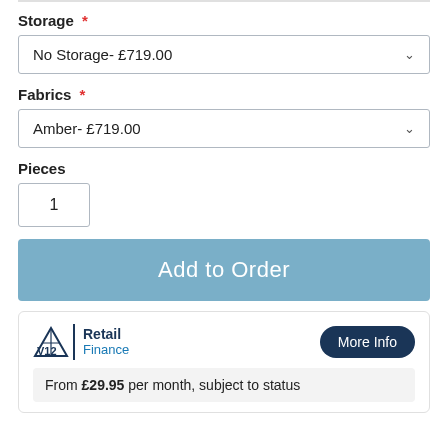Storage *
No Storage- £719.00
Fabrics *
Amber- £719.00
Pieces
1
Add to Order
[Figure (logo): V12 Retail Finance logo with triangle graphic, vertical divider, and 'Retail Finance' text]
More Info
From £29.95 per month, subject to status